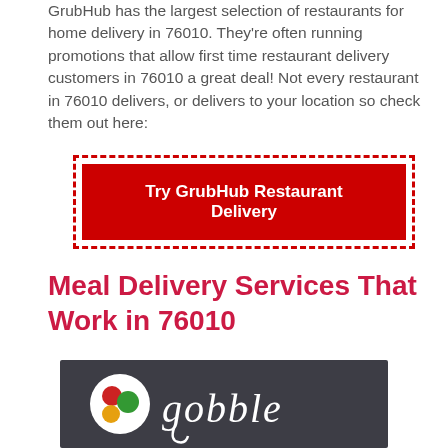GrubHub has the largest selection of restaurants for home delivery in 76010. They're often running promotions that allow first time restaurant delivery customers in 76010 a great deal! Not every restaurant in 76010 delivers, or delivers to your location so check them out here:
[Figure (other): Red button with dashed red border reading 'Try GrubHub Restaurant Delivery' in white bold text]
Meal Delivery Services That Work in 76010
[Figure (logo): Gobble logo: dark gray background with circular icon showing red, green, and yellow dots and cursive white 'gobble' text]